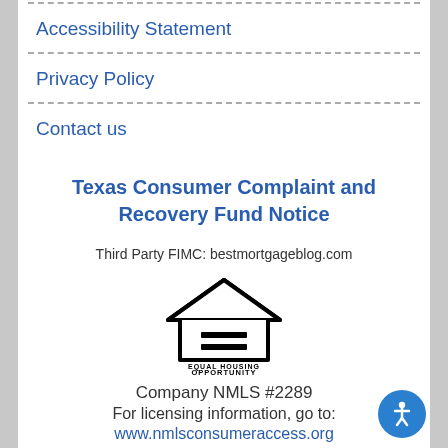Accessibility Statement
Privacy Policy
Contact us
Texas Consumer Complaint and Recovery Fund Notice
Third Party FIMC: bestmortgageblog.com
[Figure (logo): Equal Housing Opportunity logo — house outline with equals sign, text EQUAL HOUSING OPPORTUNITY below]
Company NMLS #2289
For licensing information, go to:
www.nmlsconsumeraccess.org